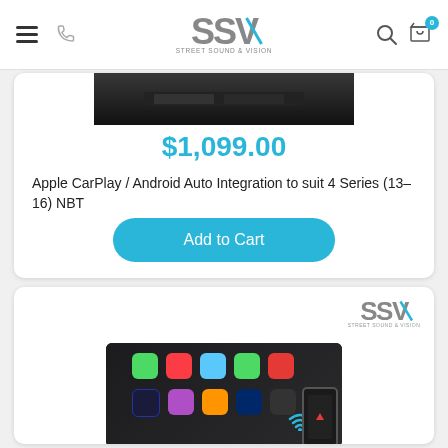[Figure (screenshot): SSV Street Sound & Vision website header with hamburger menu, phone icon, SSV logo, search icon, and shopping cart with badge showing 0]
[Figure (screenshot): Product card showing a dark car screen image at top]
$1,099.00
Apple CarPlay / Android Auto Integration to suit 4 Series (13-16) NBT
[Figure (screenshot): Add to Cart button in cyan/teal rounded pill style]
[Figure (screenshot): Second product card with SSV logo and CarPlay interface shown on car screen with app icons including Phone, Music, Maps, Messages, Video, Podcasts, Audiobooks, and a smartphone overlay]